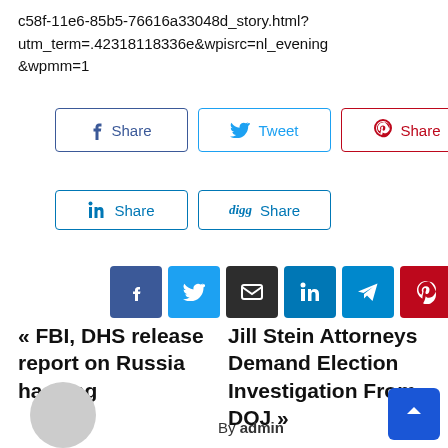c58f-11e6-85b5-76616a33048d_story.html?utm_term=.42318118336e&wpisrc=nl_evening&wpmm=1
[Figure (infographic): Social share buttons: Facebook Share, Twitter Tweet, Pinterest Share, LinkedIn Share, Digg Share, and six icon-style share buttons (Facebook, Twitter, Email, LinkedIn, Telegram, Pinterest)]
« FBI, DHS release report on Russia hacking
Jill Stein Attorneys Demand Election Investigation From DOJ »
By admin